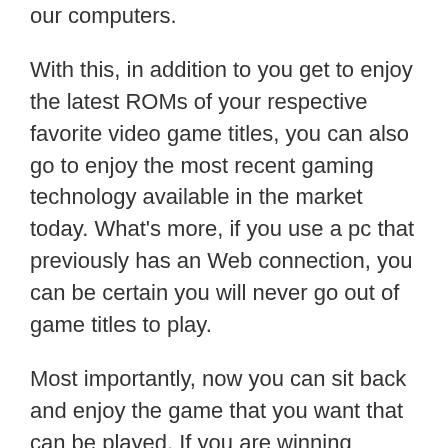our computers.
With this, in addition to you get to enjoy the latest ROMs of your respective favorite video game titles, you can also go to enjoy the most recent gaming technology available in the market today. What's more, if you use a pc that previously has an Web connection, you can be certain you will never go out of game titles to play.
Most importantly, now you can sit back and enjoy the game that you want that can be played. If you are winning contests with pals, you can just start a